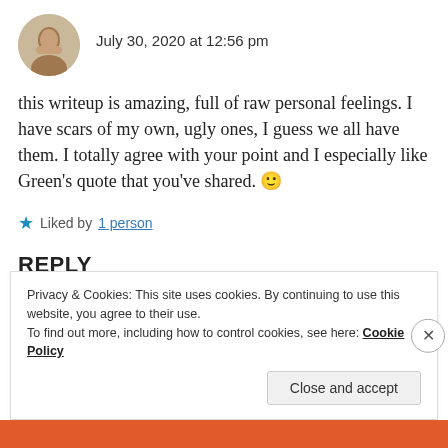July 30, 2020 at 12:56 pm
this writeup is amazing, full of raw personal feelings. I have scars of my own, ugly ones, I guess we all have them. I totally agree with your point and I especially like Green's quote that you've shared. 🙂
★ Liked by 1 person
REPLY
Privacy & Cookies: This site uses cookies. By continuing to use this website, you agree to their use. To find out more, including how to control cookies, see here: Cookie Policy
Close and accept